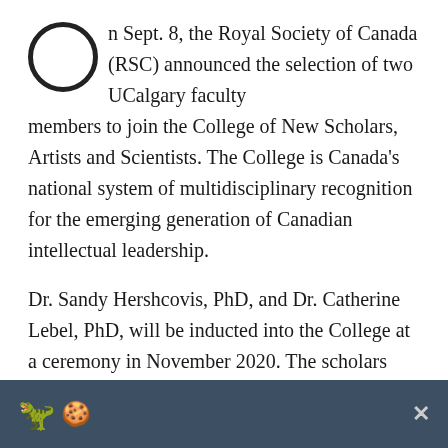On Sept. 8, the Royal Society of Canada (RSC) announced the selection of two UCalgary faculty members to join the College of New Scholars, Artists and Scientists. The College is Canada's national system of multidisciplinary recognition for the emerging generation of Canadian intellectual leadership.
Dr. Sandy Hershcovis, PhD, and Dr. Catherine Lebel, PhD, will be inducted into the College at a ceremony in November 2020. The scholars were selected for this honour based on academic excellence and glowing nominations from their leaders and peers.
“I congratulate our two new members of the College of
[Figure (other): Cookie/browser notification bar with pixel-art dinosaur and cookie icons, and a close (x) button, on a dark blue-grey background.]